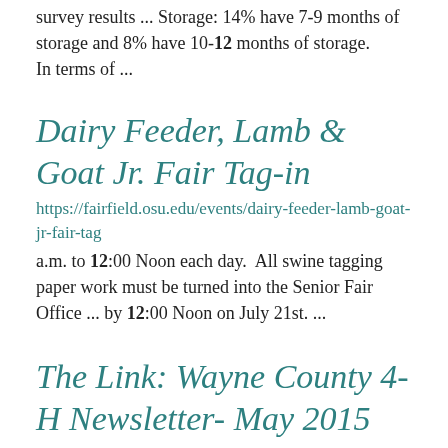survey results ... Storage: 14% have 7-9 months of storage and 8% have 10-12 months of storage.          In terms of ...
Dairy Feeder, Lamb & Goat Jr. Fair Tag-in
https://fairfield.osu.edu/events/dairy-feeder-lamb-goat-jr-fair-tag
a.m. to 12:00 Noon each day.  All swine tagging paper work must be turned into the Senior Fair Office ... by 12:00 Noon on July 21st. ...
The Link: Wayne County 4-H Newsletter- May 2015